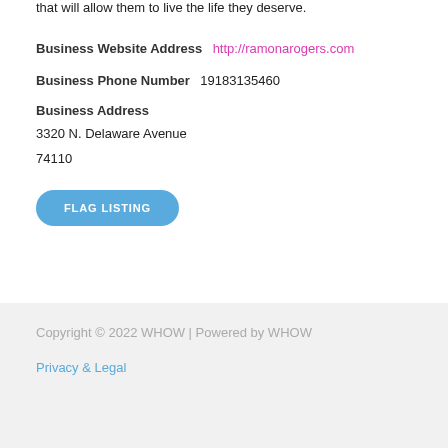that will allow them to live the life they deserve.
Business Website Address  http://ramonarogers.com
Business Phone Number  19183135460
Business Address
3320 N. Delaware Avenue
74110
FLAG LISTING
Copyright © 2022 WHOW | Powered by WHOW
Privacy & Legal